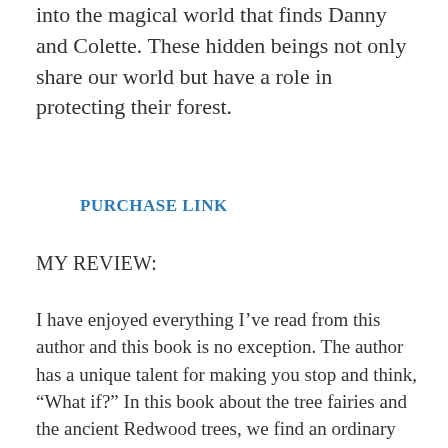into the magical world that finds Danny and Colette. These hidden beings not only share our world but have a role in protecting their forest.
PURCHASE LINK
MY REVIEW:
I have enjoyed everything I’ve read from this author and this book is no exception. The author has a unique talent for making you stop and think, “What if?” In this book about the tree fairies and the ancient Redwood trees, we find an ordinary family with an extraordinary connection to nature on a camping trip. What happens to the children first, then to the adults is both heartwarming and magical. The family is given a